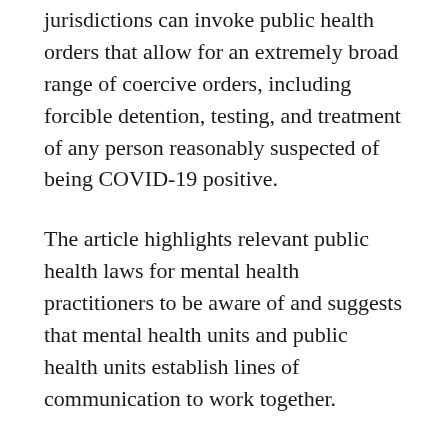jurisdictions can invoke public health orders that allow for an extremely broad range of coercive orders, including forcible detention, testing, and treatment of any person reasonably suspected of being COVID-19 positive.
The article highlights relevant public health laws for mental health practitioners to be aware of and suggests that mental health units and public health units establish lines of communication to work together.
Professor Stewart and his colleagues conclude with a call for nationally consistent regulation as “the best way to encourage best practice,